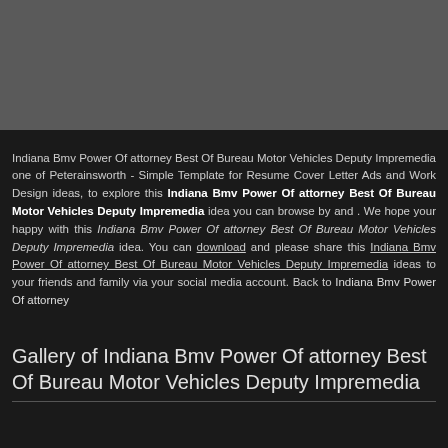[Figure (photo): Dark gray banner image at the top of the page]
Indiana Bmv Power Of attorney Best Of Bureau Motor Vehicles Deputy Impremedia one of Peterainsworth - Simple Template for Resume Cover Letter Ads and Work Design ideas, to explore this Indiana Bmv Power Of attorney Best Of Bureau Motor Vehicles Deputy Impremedia idea you can browse by and . We hope your happy with this Indiana Bmv Power Of attorney Best Of Bureau Motor Vehicles Deputy Impremedia idea. You can download and please share this Indiana Bmv Power Of attorney Best Of Bureau Motor Vehicles Deputy Impremedia ideas to your friends and family via your social media account. Back to Indiana Bmv Power Of attorney
Gallery of Indiana Bmv Power Of attorney Best Of Bureau Motor Vehicles Deputy Impremedia